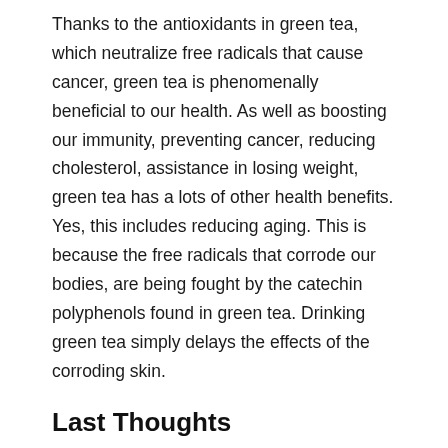Thanks to the antioxidants in green tea, which neutralize free radicals that cause cancer, green tea is phenomenally beneficial to our health. As well as boosting our immunity, preventing cancer, reducing cholesterol, assistance in losing weight, green tea has a lots of other health benefits. Yes, this includes reducing aging. This is because the free radicals that corrode our bodies, are being fought by the catechin polyphenols found in green tea. Drinking green tea simply delays the effects of the corroding skin.
Last Thoughts
Amy Wechsler, M.D. (and a board-certified dermatologist and psychiatrist) said “Tension – not time – causes the lines on your face.” According to her, “stress can add three to six years to the look of your skin.” Therefore, you can use all